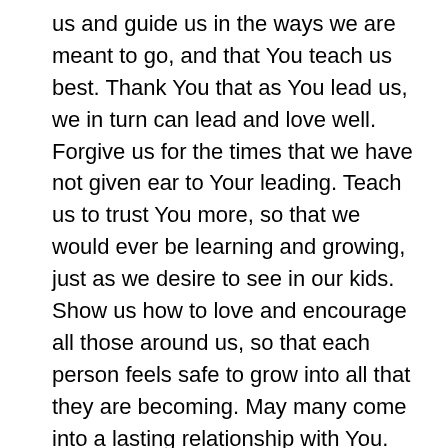us and guide us in the ways we are meant to go, and that You teach us best. Thank You that as You lead us, we in turn can lead and love well. Forgive us for the times that we have not given ear to Your leading. Teach us to trust You more, so that we would ever be learning and growing, just as we desire to see in our kids. Show us how to love and encourage all those around us, so that each person feels safe to grow into all that they are becoming. May many come into a lasting relationship with You. Be glorified O God, as we trust You and listen to You as You teach us and lead us forward. Amen.